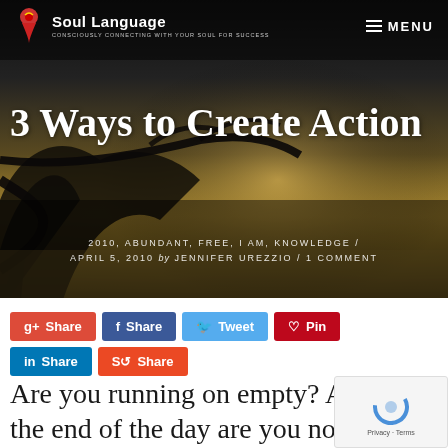[Figure (screenshot): Website header/hero image with dark landscape background showing tree silhouettes and warm golden light, with Soul Language logo and navigation menu]
Soul Language — CONSCIOUSLY CONNECTING WITH YOUR SOUL FOR SUCCESS — MENU
3 Ways to Create Action
2010, ABUNDANT, FREE, I AM, KNOWLEDGE / APRIL 5, 2010 by JENNIFER UREZZIO / 1 COMMENT
g+ Share  f Share  Tweet  Pin  in Share  Share
Are you running on empty? At the end of the day are you not sure wha